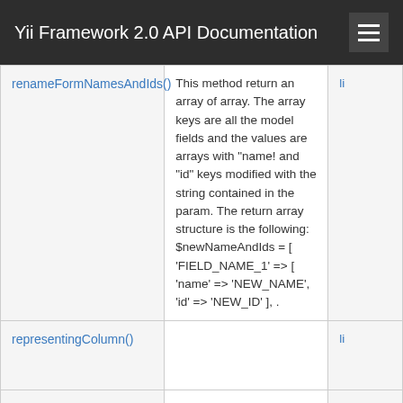Yii Framework 2.0 API Documentation
| Method | Description | Defined By |
| --- | --- | --- |
| renameFormNamesAndIds() | This method return an array of array. The array keys are all the model fields and the values are arrays with "name! and "id" keys modified with the string contained in the param. The return array structure is the following: $newNameAndIds = [ 'FIELD_NAME_1' => [ 'name' => 'NEW_NAME', 'id' => 'NEW_ID' ], . | li… |
| representingColumn() |  | li… |
| rules() |  | li… |
| safeAttributes() | Returns the attribute names that are safe to be massively assigned in the | y… |